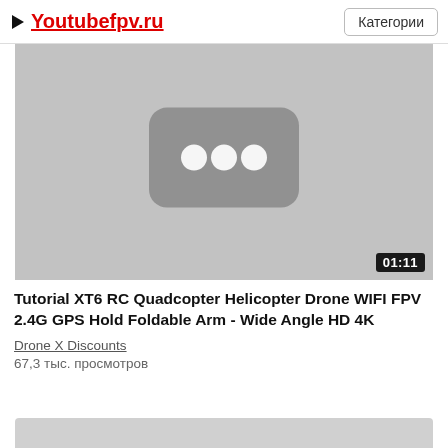▶ Youtubefpv.ru   Категории
[Figure (screenshot): Video thumbnail showing a grayscale YouTube-style logo placeholder (three dots inside a rounded rectangle) on a light gray background. Duration badge shows 01:11 in bottom-right corner.]
Tutorial XT6 RC Quadcopter Helicopter Drone WIFI FPV 2.4G GPS Hold Foldable Arm - Wide Angle HD 4K
Drone X Discounts
67,3 тыс. просмотров
[Figure (screenshot): Partial view of the next video thumbnail at the bottom of the page, showing a gray rectangle.]